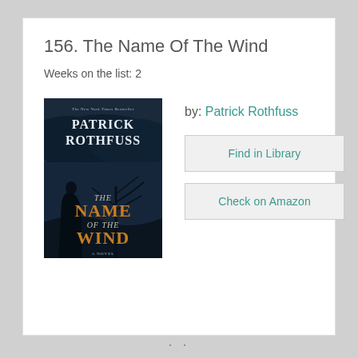156. The Name Of The Wind
Weeks on the list: 2
[Figure (illustration): Book cover of 'The Name of the Wind' by Patrick Rothfuss. Dark atmospheric cover with a cloaked figure and golden stylized title text.]
by: Patrick Rothfuss
Find in Library
Check on Amazon